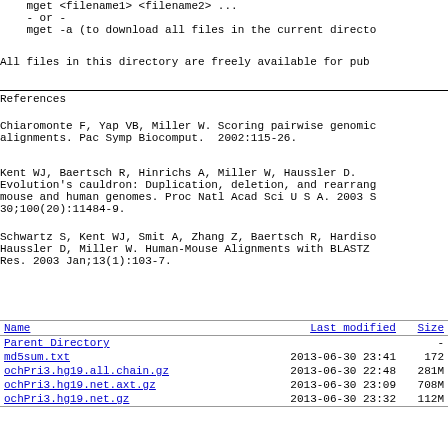mget <filename1> <filename2> ...
    - or -
    mget -a (to download all files in the current directo
All files in this directory are freely available for pub
References
Chiaromonte F, Yap VB, Miller W. Scoring pairwise genomic alignments. Pac Symp Biocomput.  2002:115-26.
Kent WJ, Baertsch R, Hinrichs A, Miller W, Haussler D. Evolution's cauldron: Duplication, deletion, and rearrang mouse and human genomes. Proc Natl Acad Sci U S A. 2003 S 30;100(20):11484-9.
Schwartz S, Kent WJ, Smit A, Zhang Z, Baertsch R, Hardiso Haussler D, Miller W. Human-Mouse Alignments with BLASTZ Res. 2003 Jan;13(1):103-7.
| Name | Last modified | Size |
| --- | --- | --- |
| Parent Directory |  | - |
| md5sum.txt | 2013-06-30 23:41 | 172 |
| ochPri3.hg19.all.chain.gz | 2013-06-30 22:48 | 281M |
| ochPri3.hg19.net.axt.gz | 2013-06-30 23:09 | 708M |
| ochPri3.hg19.net.gz | 2013-06-30 23:32 | 112M |